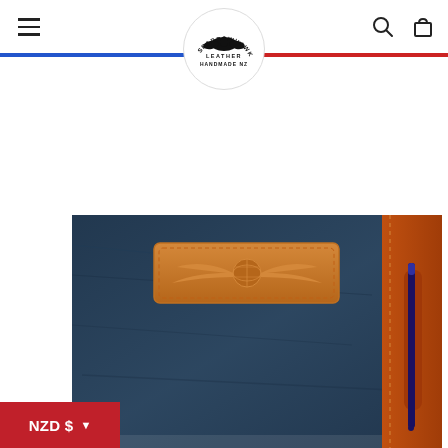[Figure (logo): Sparrowhawk Leather Handmade NZ logo — circular badge with hawk silhouette above text SPARROWHAWK / LEATHER / HANDMADE NZ]
[Figure (photo): Dark navy/teal leather folio cover with an embossed tan leather pilot wings badge patch on the front, orange/tan leather trim and pen loop on the right side with a blue pen inserted, on white background. NZD $ currency selector button in bottom-left corner.]